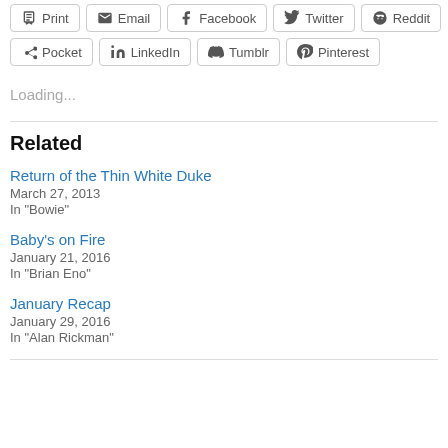[Figure (infographic): Social share buttons row 1: Print, Email, Facebook, Twitter, Reddit]
[Figure (infographic): Social share buttons row 2: Pocket, LinkedIn, Tumblr, Pinterest]
Loading...
Related
Return of the Thin White Duke
March 27, 2013
In "Bowie"
Baby's on Fire
January 21, 2016
In "Brian Eno"
January Recap
January 29, 2016
In "Alan Rickman"